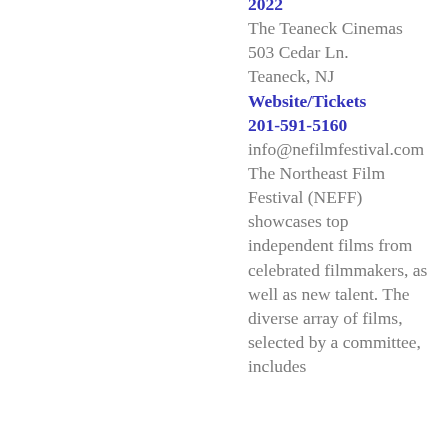The Teaneck Cinemas
503 Cedar Ln.
Teaneck, NJ
Website/Tickets
201-591-5160
info@nefilmfestival.com
The Northeast Film Festival (NEFF) showcases top independent films from celebrated filmmakers, as well as new talent. The diverse array of films, selected by a committee, includes